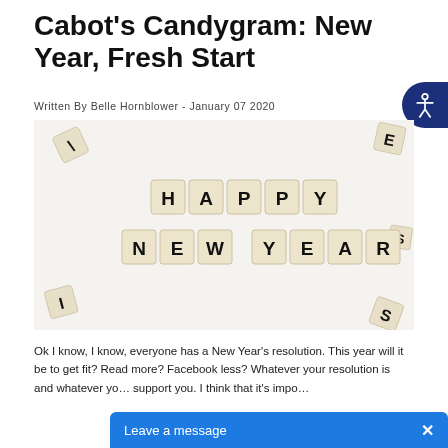Cabot's Candygram: New Year, Fresh Start
Written By Belle Hornblower - January 07 2020
[Figure (photo): Scrabble tiles arranged on a white background spelling out HAPPY NEW YEAR with scattered tiles around the edges]
Ok I know, I know, everyone has a New Year’s resolution. This year will it be to get fit? Read more? Facebook less? Whatever your resolution is and whatever yo… support you. I think that it’s impo…